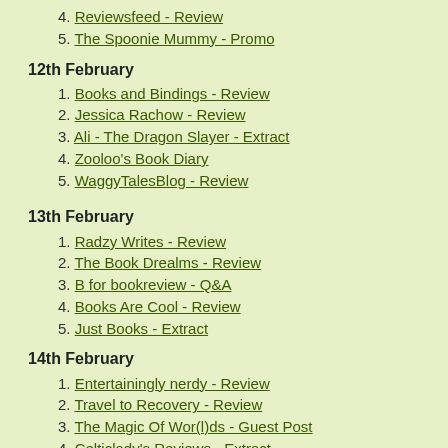5. The Spoonie Mummy - Promo
12th February
1. Books and Bindings - Review
2. Jessica Rachow - Review
3. Ali - The Dragon Slayer - Extract
4. Zooloo's Book Diary
5. WaggyTalesBlog - Review
13th February
1. Radzy Writes - Review
2. The Book Drealms - Review
3. B for bookreview - Q&A
4. Books Are Cool - Review
5. Just Books - Extract
14th February
1. Entertainingly nerdy - Review
2. Travel to Recovery - Review
3. The Magic Of Wor(l)ds - Guest Post
4. Celticlady's Reviews - Extract
5. Reflections of a Reader - Review